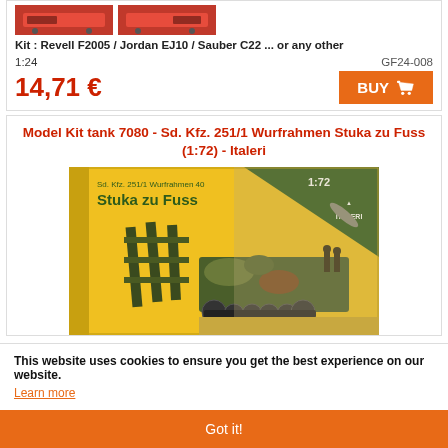[Figure (photo): Two small red Formula 1 car model images side by side]
Kit : Revell F2005 / Jordan EJ10 / Sauber C22  ... or any other
1:24
GF24-008
14,71 €
BUY
Model Kit tank 7080 - Sd. Kfz. 251/1 Wurfrahmen Stuka zu Fuss (1:72) - Italeri
[Figure (photo): Italeri model kit box for Sd. Kfz. 251/1 Wurfrahmen 40 Stuka zu Fuss 1:72 scale, showing a camouflaged German half-track vehicle with rocket launcher frames]
This website uses cookies to ensure you get the best experience on our website.
Learn more
Got it!